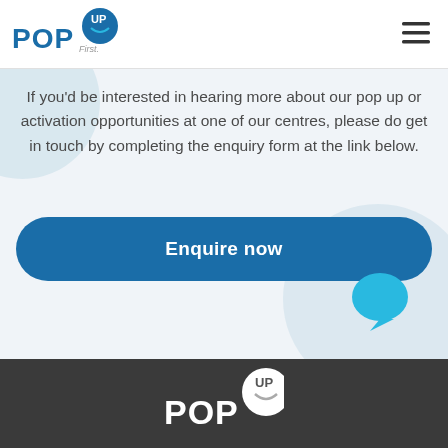[Figure (logo): Pop Up First logo - blue text 'POP' with circular 'Up' badge in dark blue and light blue]
[Figure (other): Hamburger menu icon (three horizontal lines)]
If you'd be interested in hearing more about our pop up or activation opportunities at one of our centres, please do get in touch by completing the enquiry form at the link below.
[Figure (other): Dark blue rounded rectangle button with white bold text 'Enquire now']
[Figure (other): Light blue speech bubble icon in bottom right area]
[Figure (logo): Pop Up First logo in white/grey on dark grey footer background]